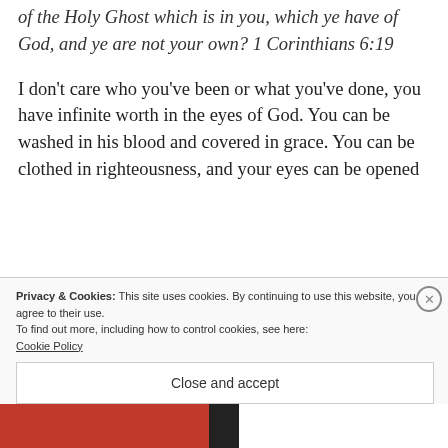of the Holy Ghost which is in you, which ye have of God, and ye are not your own? 1 Corinthians 6:19
I don't care who you've been or what you've done, you have infinite worth in the eyes of God. You can be washed in his blood and covered in grace. You can be clothed in righteousness, and your eyes can be opened
Privacy & Cookies: This site uses cookies. By continuing to use this website, you agree to their use.
To find out more, including how to control cookies, see here:
Cookie Policy
Close and accept